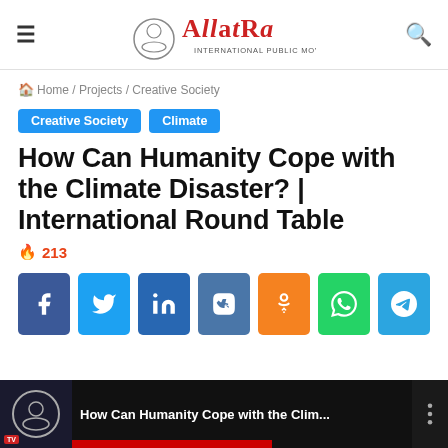AllatRa International Public Movement
Home / Projects / Creative Society
Creative Society   Climate
How Can Humanity Cope with the Climate Disaster? | International Round Table
213
[Figure (infographic): Social sharing buttons: Facebook, Twitter, LinkedIn, VK, OK, WhatsApp, Telegram]
[Figure (screenshot): Video thumbnail bar showing: How Can Humanity Cope with the Clim...]